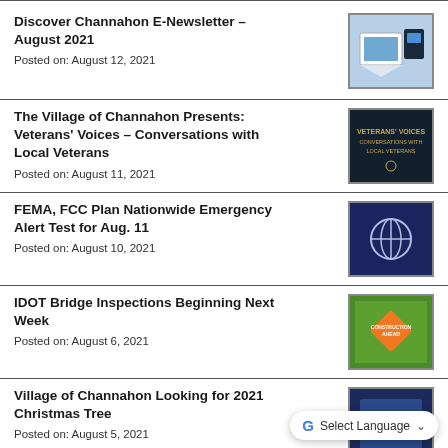Discover Channahon E-Newsletter - August 2021
Posted on: August 12, 2021
The Village of Channahon Presents: Veterans' Voices - Conversations with Local Veterans
Posted on: August 11, 2021
FEMA, FCC Plan Nationwide Emergency Alert Test for Aug. 11
Posted on: August 10, 2021
IDOT Bridge Inspections Beginning Next Week
Posted on: August 6, 2021
Village of Channahon Looking for 2021 Christmas Tree
Posted on: August 5, 2021